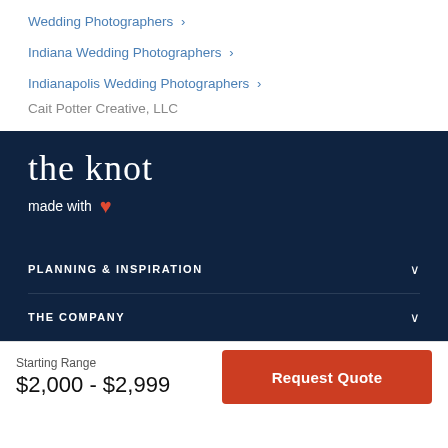Wedding Photographers >
Indiana Wedding Photographers >
Indianapolis Wedding Photographers >
Cait Potter Creative, LLC
[Figure (logo): The Knot logo in white cursive script on dark navy background, with 'made with' text and a red heart icon]
PLANNING & INSPIRATION
THE COMPANY
Starting Range
$2,000 - $2,999
Request Quote